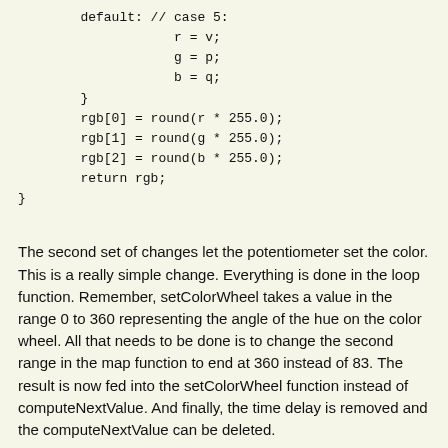default: // case 5:
                    r = v;
                    g = p;
                    b = q;
        }
        rgb[0] = round(r * 255.0);
        rgb[1] = round(g * 255.0);
        rgb[2] = round(b * 255.0);
        return rgb;
}
The second set of changes let the potentiometer set the color. This is a really simple change. Everything is done in the loop function. Remember, setColorWheel takes a value in the range 0 to 360 representing the angle of the hue on the color wheel. All that needs to be done is to change the second range in the map function to end at 360 instead of 83. The result is now fed into the setColorWheel function instead of computeNextValue. And finally, the time delay is removed and the computeNextValue can be deleted.
And that's it. Pretty simple changes and now the potentiometer can be used to set the color.